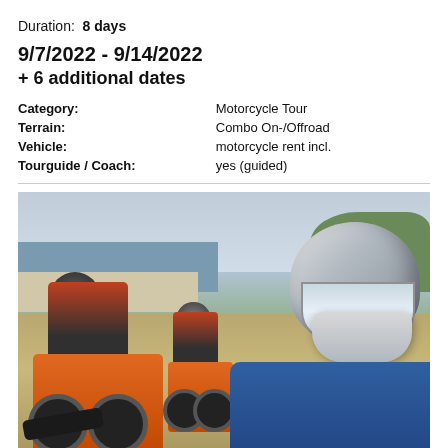Duration:  8 days
9/7/2022 - 9/14/2022
+ 6 additional dates
| Field | Value |
| --- | --- |
| Category: | Motorcycle Tour |
| Terrain: | Combo On-/Offroad |
| Vehicle: | motorcycle rent incl. |
| Tourguide / Coach: | yes (guided) |
[Figure (photo): Two motorcycle riders on orange off-road bikes on a dirt track near a coastline, with a third rider in the foreground wearing a white/blue full-face helmet and blue jacket.]